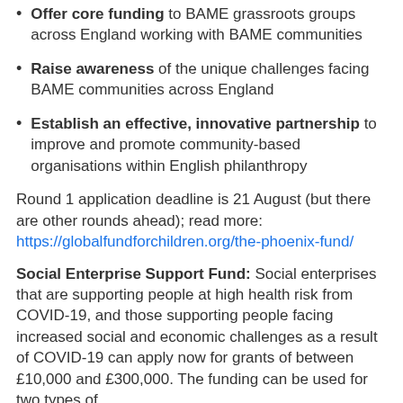Offer core funding to BAME grassroots groups across England working with BAME communities
Raise awareness of the unique challenges facing BAME communities across England
Establish an effective, innovative partnership to improve and promote community-based organisations within English philanthropy
Round 1 application deadline is 21 August (but there are other rounds ahead); read more: https://globalfundforchildren.org/the-phoenix-fund/
Social Enterprise Support Fund: Social enterprises that are supporting people at high health risk from COVID-19, and those supporting people facing increased social and economic challenges as a result of COVID-19 can apply now for grants of between £10,000 and £300,000. The funding can be used for two types of